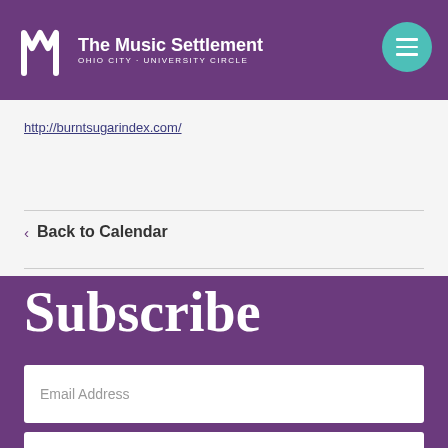The Music Settlement OHIO CITY - UNIVERSITY CIRCLE
http://burntsugarindex.com/
< Back to Calendar
Subscribe
Email Address
First Name